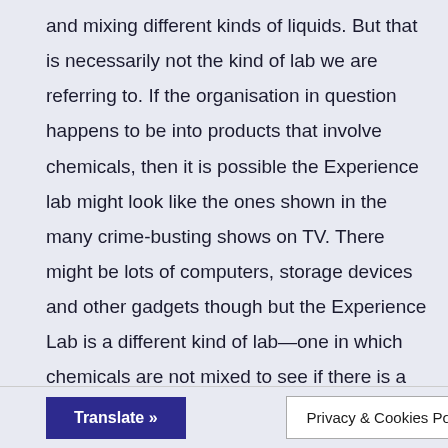and mixing different kinds of liquids. But that is necessarily not the kind of lab we are referring to. If the organisation in question happens to be into products that involve chemicals, then it is possible the Experience lab might look like the ones shown in the many crime-busting shows on TV. There might be lots of computers, storage devices and other gadgets though but the Experience Lab is a different kind of lab—one in which chemicals are not mixed to see if there is a colour change or if there would be a gaseous explosion.
Translate » | Privacy & Cookies Policy